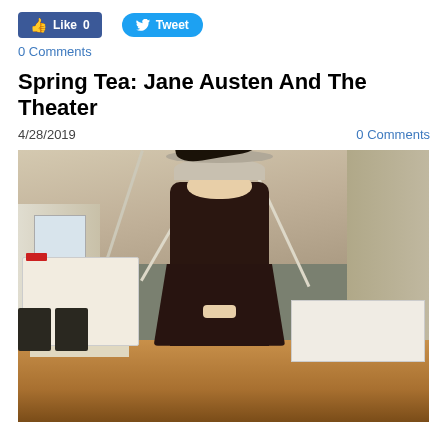[Figure (other): Facebook Like button showing 0 likes and Twitter Tweet button]
0 Comments
Spring Tea:  Jane Austen And The Theater
4/28/2019
0 Comments
[Figure (photo): A woman in Victorian/Regency costume with an elaborate feathered hat stands in a banquet hall set up with white tableclothed tables and dark chairs on a wood floor with vaulted white ceiling beams.]